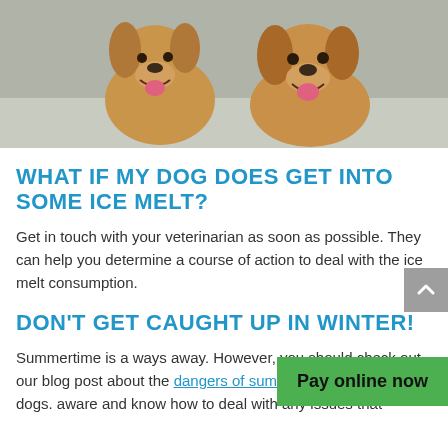[Figure (photo): Two golden retriever dogs outdoors in snowy/sandy setting, looking at camera with mouths open and tongues out]
WHAT IF MY DOG DOES GET INTO SOME ICE MELT?
Get in touch with your veterinarian as soon as possible. They can help you determine a course of action to deal with the ice melt consumption.
DON'T GET CAUGHT UP IN WINTER!
Summertime is a ways away. However, you should check out our blog post about the dangers of summertime heat and dogs. aware and know how to deal with any issues that